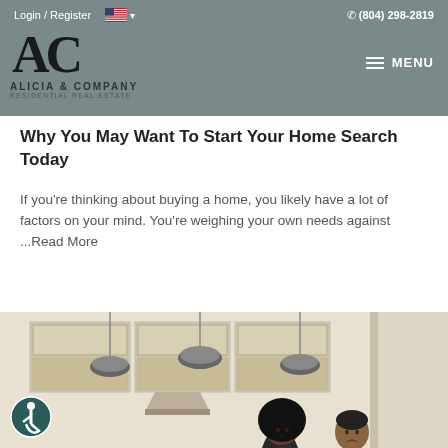Login / Register  🇺🇸 ▾   📞 (804) 298-2819   AC ALICIA & COMPANY RESIDENTIAL REAL ESTATE   ≡ MENU
Why You May Want To Start Your Home Search Today
If you're thinking about buying a home, you likely have a lot of factors on your mind. You're weighing your own needs against ...Read More
[Figure (photo): A couple standing in an empty modern kitchen looking up, with pendant lights and light wood cabinets in the background.]